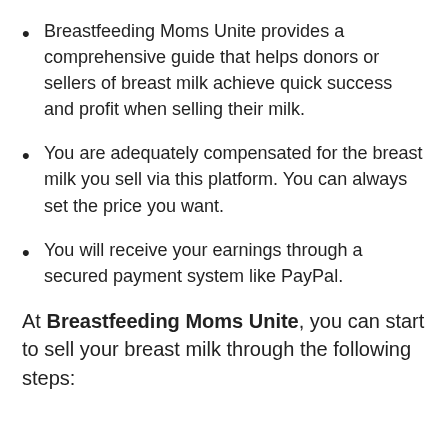Breastfeeding Moms Unite provides a comprehensive guide that helps donors or sellers of breast milk achieve quick success and profit when selling their milk.
You are adequately compensated for the breast milk you sell via this platform. You can always set the price you want.
You will receive your earnings through a secured payment system like PayPal.
At Breastfeeding Moms Unite, you can start to sell your breast milk through the following steps: